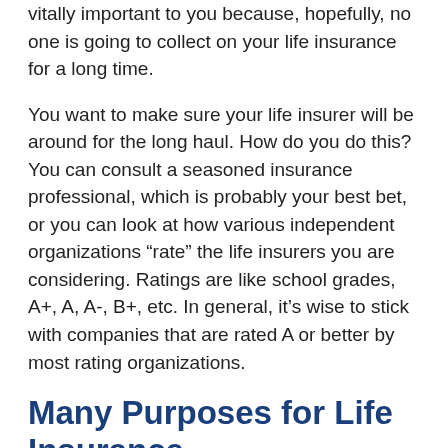vitally important to you because, hopefully, no one is going to collect on your life insurance for a long time.
You want to make sure your life insurer will be around for the long haul. How do you do this? You can consult a seasoned insurance professional, which is probably your best bet, or you can look at how various independent organizations “rate” the life insurers you are considering. Ratings are like school grades, A+, A, A-, B+, etc. In general, it’s wise to stick with companies that are rated A or better by most rating organizations.
Many Purposes for Life Insurance
Life insurance is far more than just a decision of